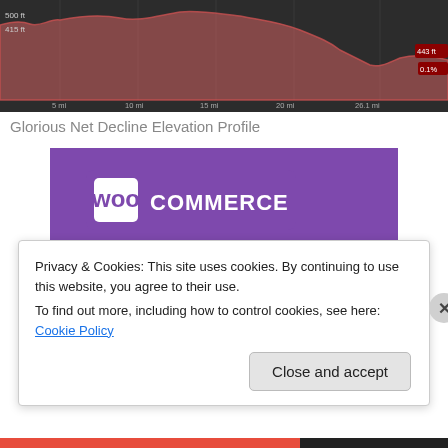[Figure (continuous-plot): Elevation profile chart showing a route with declining elevation over 26.1 miles. Y-axis shows values around 415ft to 500ft on left, 443ft on right. X-axis shows distance markers at 5mi, 10mi, 15mi, 20mi, 26.1mi. The chart has a dark background with a pink/red filled area chart showing overall elevation decline.]
Glorious Net Decline Elevation Profile
[Figure (illustration): WooCommerce advertisement banner with purple header containing the WooCommerce logo (white W in box + COMMERCE text), teal triangle shape on left, light blue quarter-circle on right, and text 'How to start selling subscriptions online' on white background.]
Privacy & Cookies: This site uses cookies. By continuing to use this website, you agree to their use.
To find out more, including how to control cookies, see here: Cookie Policy
Close and accept